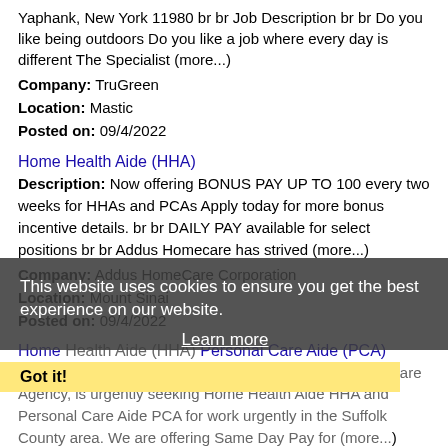Yaphank, New York 11980 br br Job Description br br Do you like being outdoors Do you like a job where every day is different The Specialist (more...)
Company: TruGreen
Location: Mastic
Posted on: 09/4/2022
Home Health Aide (HHA)
Description: Now offering BONUS PAY UP TO 100 every two weeks for HHAs and PCAs Apply today for more bonus incentive details. br br DAILY PAY available for select positions br br Addus Homecare has strived (more...)
Company: Addus HomeCare Corporation
Location: Mount Sinai
Posted on: 09/4/2022
Home Health Aide (HHA) Personal Care Aide (PCA)
Description: Rockaway Home Care, a Licensed Home Care Agency, is urgently seeking Home Health Aide HHA and Personal Care Aide PCA for work urgently in the Suffolk County area. We are offering Same Day Pay for (more...)
Company: Rockaway Home Care
Location: Lake Grove
Posted on: 09/4/2022
This website uses cookies to ensure you get the best experience on our website. Learn more
Got it!